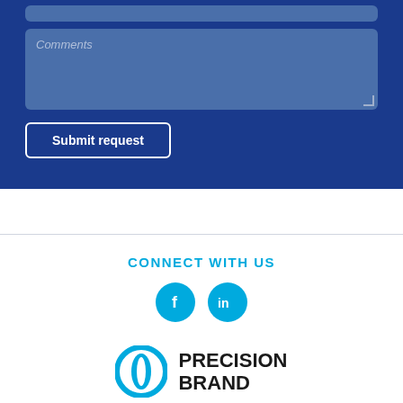[Figure (screenshot): Web form section with a Comments textarea and a Submit request button on a dark blue background]
Comments
Submit request
CONNECT WITH US
[Figure (logo): Facebook and LinkedIn social media icons (blue circles with white letters f and in)]
[Figure (logo): Precision Brand logo with cyan circular icon and bold black text PRECISION BRAND]